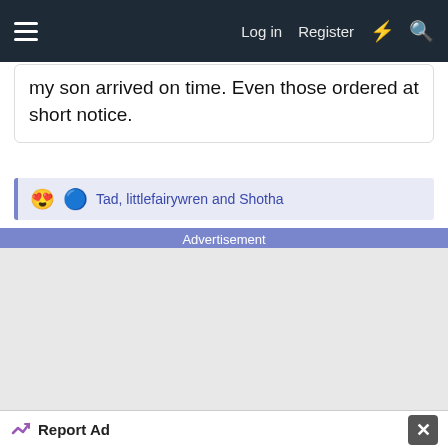Log in  Register
my son arrived on time. Even those ordered at short notice.
😍🔵 Tad, littlefairywren and Shotha
Advertisement
[Figure (other): Advertisement placeholder area — light grey background]
Report Ad